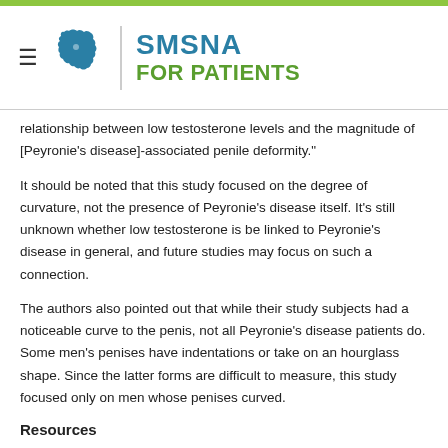SMSNA FOR PATIENTS
relationship between low testosterone levels and the magnitude of [Peyronie's disease]-associated penile deformity."
It should be noted that this study focused on the degree of curvature, not the presence of Peyronie's disease itself. It's still unknown whether low testosterone is be linked to Peyronie's disease in general, and future studies may focus on such a connection.
The authors also pointed out that while their study subjects had a noticeable curve to the penis, not all Peyronie's disease patients do. Some men's penises have indentations or take on an hourglass shape. Since the latter forms are difficult to measure, this study focused only on men whose penises curved.
Resources